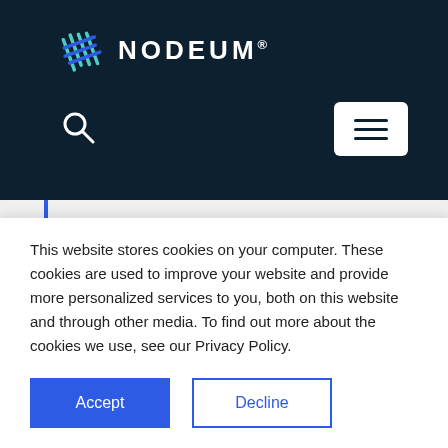[Figure (logo): Nodeum logo with stylized green/teal grid icon and white uppercase text 'NODEUM' with trademark symbol]
[Figure (screenshot): Navigation bar with search icon on left and white menu hamburger button on right, on dark teal background]
container_p_name: "video",
primary_name: "video",
This website stores cookies on your computer. These cookies are used to improve your website and provide more personalized services to you, both on this website and through other media. To find out more about the cookies we use, see our Privacy Policy.
Accept
Decline